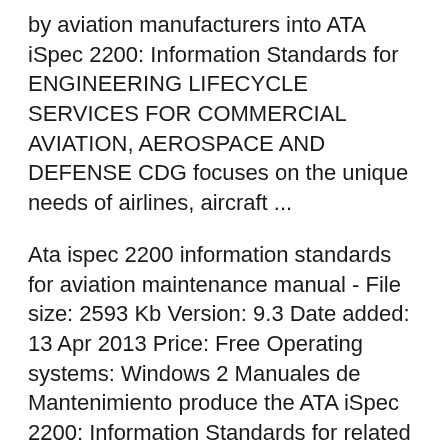by aviation manufacturers into ATA iSpec 2200: Information Standards for ENGINEERING LIFECYCLE SERVICES FOR COMMERCIAL AVIATION, AEROSPACE AND DEFENSE CDG focuses on the unique needs of airlines, aircraft ...
Ata ispec 2200 information standards for aviation maintenance manual - File size: 2593 Kb Version: 9.3 Date added: 13 Apr 2013 Price: Free Operating systems: Windows 2 Manuales de Mantenimiento produce the ATA iSpec 2200: Information Standards for related to aircraft maintenance. The iSpec 2200 was developed
AIA /ATA/ ASD S1000D Users Forum •